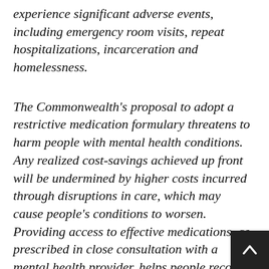experience significant adverse events, including emergency room visits, repeat hospitalizations, incarceration and homelessness.
The Commonwealth's proposal to adopt a restrictive medication formulary threatens to harm people with mental health conditions. Any realized cost-savings achieved up front will be undermined by higher costs incurred through disruptions in care, which may cause people's conditions to worsen. Providing access to effective medications, as prescribed in close consultation with a mental health provider, helps people recover